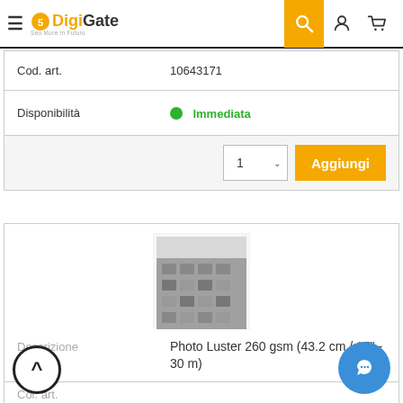DigiGate - Seo More in Futuro
| Campo | Valore |
| --- | --- |
| Cod. art. | 10643171 |
| Disponibilità | Immediata |
[Figure (screenshot): Product image showing a black and white architectural photo print sample with branding, Ilford Ilfochrome 2060 label visible]
| Campo | Valore |
| --- | --- |
| Descrizione | Photo Luster 260 gsm (43.2 cm / 17" - 30 m) |